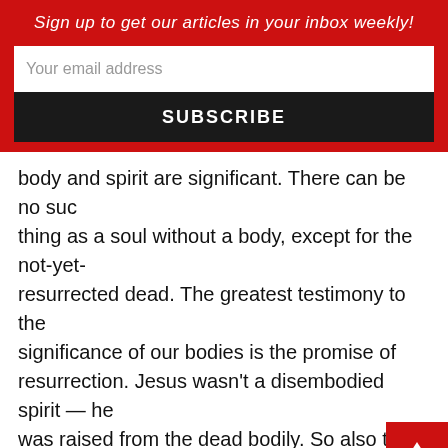Sign up to get our articles in your inbox weekly!
Your email address
SUBSCRIBE
body and spirit are significant. There can be no such thing as a soul without a body, except for the not-yet-resurrected dead. The greatest testimony to the significance of our bodies is the promise of resurrection. Jesus wasn't a disembodied spirit — he was raised from the dead bodily. So also the Bible says that we won't be ghosts floating around heaven: we, too, will be raised from the dead, our bodies and spirits reunited and transformed. Thus, Alice's dismissal of the body may go too far, even though it's actually true in the context of the story. But though her statement is faulty in the degree to which it dismisses the importance of the body, underlying Alice's point is an affirmation that humans have an immaterial soul.